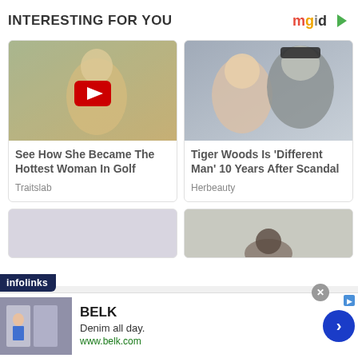INTERESTING FOR YOU
[Figure (logo): mgid logo with colorful letters and play icon]
[Figure (photo): Woman golfer in yellow shirt crouching, with YouTube play button overlay]
See How She Became The Hottest Woman In Golf
Traitslab
[Figure (photo): Tiger Woods and a woman, close-up portrait]
Tiger Woods Is 'Different Man' 10 Years After Scandal
Herbeauty
[Figure (photo): Partial view of a person from above on light background]
infolinks
[Figure (screenshot): BELK advertisement banner: Denim all day. www.belk.com with image of women]